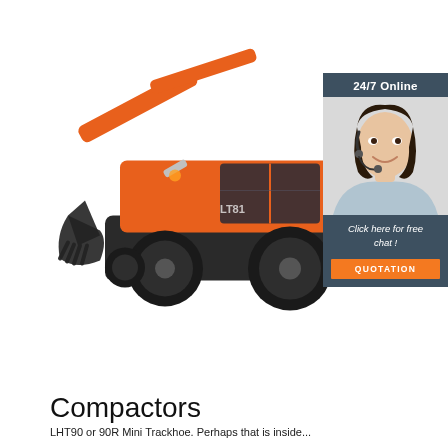[Figure (photo): Orange wheeled excavator (LT81) with bucket arm extended, on white background]
[Figure (infographic): 24/7 Online chat widget with customer service representative photo, 'Click here for free chat!' text, and orange QUOTATION button]
Compactors
LHT90 or 90R Mini Trackhoe. Perhaps that is inside...